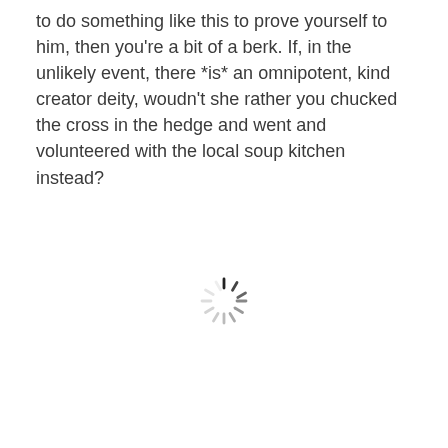to do something like this to prove yourself to him, then you're a bit of a berk. If, in the unlikely event, there *is* an omnipotent, kind creator deity, woudn't she rather you chucked the cross in the hedge and went and volunteered with the local soup kitchen instead?
[Figure (other): A loading spinner icon (circular dashed wheel) centered in the lower portion of the page]